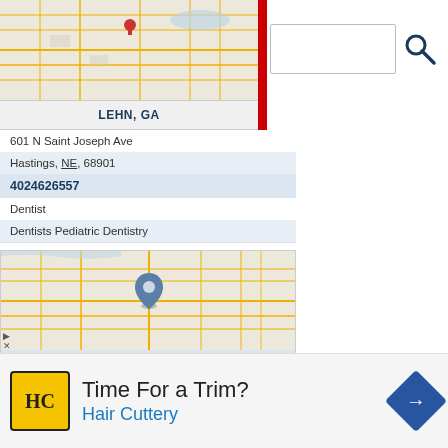[Figure (map): Street map thumbnail showing Hastings NE area]
LEHN, GA
[Figure (screenshot): Search input box with magnifying glass icon]
601 N Saint Joseph Ave
Hastings, NE, 68901
4024626557
Dentist
Dentists Pediatric Dentistry
[Figure (map): Street map thumbnail showing Hastings NE area with location pin]
LEMEK, SCOTT, MD - CENTRAL NEBRASKA ORTHOPEDICS
223 E 14th St # 250
Hastings, NE, 68901
4241
Time For a Trim? Hair Cuttery